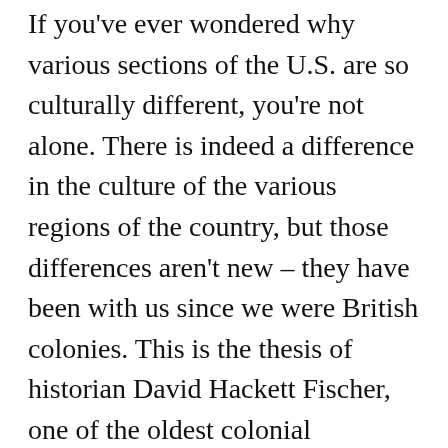If you've ever wondered why various sections of the U.S. are so culturally different, you're not alone. There is indeed a difference in the culture of the various regions of the country, but those differences aren't new – they have been with us since we were British colonies. This is the thesis of historian David Hackett Fischer, one of the oldest colonial historians alive today. In this book, he presents the four British cultures that migrated to North America: the Puritans of New England, the Quakers of the Delaware Valley, the Cavaliers (high society British) of the Virginia Tidewater region, and the Scotch-Irish of the lower South. He demonstrates the various folkways of each group, i.e., parenting, religious practice, political philosophy, and courting and marriage, to only name a few. But first, he demonstrates how each of those folkways was present in the groups when they lived in Britain. The application of those